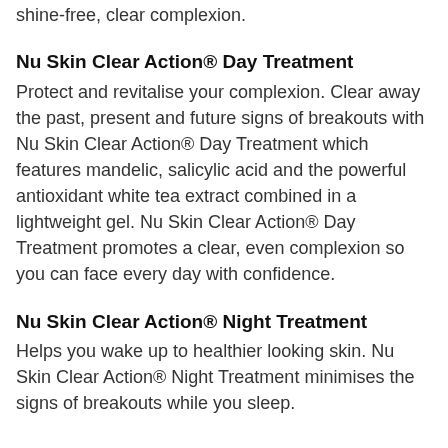shine-free, clear complexion.
Nu Skin Clear Action® Day Treatment
Protect and revitalise your complexion. Clear away the past, present and future signs of breakouts with Nu Skin Clear Action® Day Treatment which features mandelic, salicylic acid and the powerful antioxidant white tea extract combined in a lightweight gel. Nu Skin Clear Action® Day Treatment promotes a clear, even complexion so you can face every day with confidence.
Nu Skin Clear Action® Night Treatment
Helps you wake up to healthier looking skin. Nu Skin Clear Action® Night Treatment minimises the signs of breakouts while you sleep.
[Figure (illustration): Small document or image icon at bottom of page]